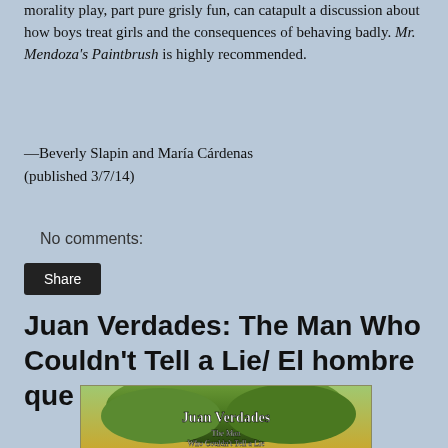morality play, part pure grisly fun, can catapult a discussion about how boys treat girls and the consequences of behaving badly. Mr. Mendoza's Paintbrush is highly recommended.
—Beverly Slapin and María Cárdenas
(published 3/7/14)
No comments:
Share
Juan Verdades: The Man Who Couldn't Tell a Lie/ El hombre que no sabía mentir
[Figure (illustration): Book cover of 'Juan Verdades: The Man Who Couldn't Tell a Lie' showing a painted tree with lush green foliage, with the title text 'Juan Verdades The Man Who Couldn't Tell a Lie' overlaid on the image.]